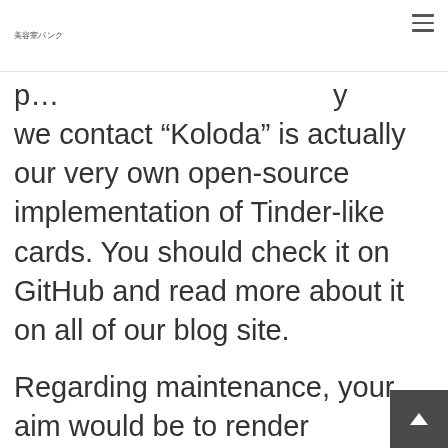美容室パンク
p… we contact “Koloda” is actually our very own open-source implementation of Tinder-like cards. You should check it on GitHub and read more about it on all of our blog site.
Regarding maintenance, your aim would be to render customers return to their software over and over again. To increase preservation, giving a push alerts whenever a match takes place is not enough. You can even generate everyd…